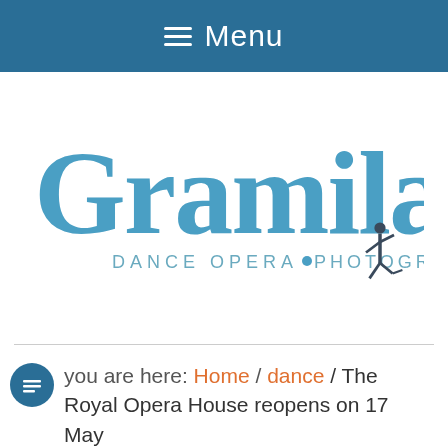≡ Menu
[Figure (logo): Gramilano logo — large blue stylized text 'Gramilano' with subtitle 'DANCE OPERA PHOTOGRAPHY' and a small dark dancer silhouette icon]
You are here: Home / dance / The Royal Opera House reopens on 17 May